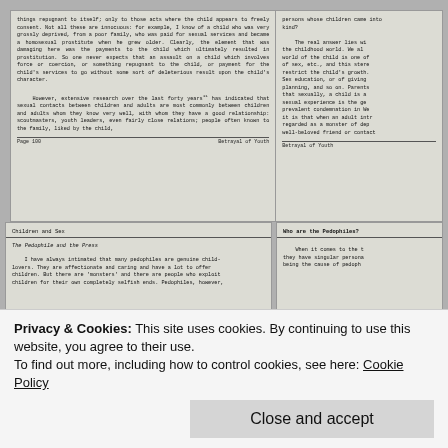things repugnant to itself; only to those acts where the child appears to freely consent. Not all these are innocuous: for example, I know of a child who was very grossly deprived, from a poor family, who was paid for sexual services and became a homosexual prostitute when he grew older. Clearly, the element that was damaging here was the payments to the child which ultimately resulted in prostitution. So one never expects that an assault on a child which involves force or coercion, or something repugnant to the child, or payment for the child's services to go without some sort of deleterious result upon the child's character. However, extensive research over the last forty years has indicated that sexual contacts between children and adults are most commonly between children and adults whom they know very well, with whom they have a good relationship: scoutmasters, youth leaders, even fairly close relations; people often known to the family, liked by the child,
Page 100                                                    Betrayal of Youth
persons whose children came into kind? The real answer lies with the childhood world. We all world of the child is one of of sex, etc., and this stere restrict the child's growth. Sex education, or of giving planning, and so on. Parents that sexually, a child is a sexual experience is the ge prevalent condemnation in We it is that when an adult intr regarded as a monster of dep well-beloved friend or contact
Betrayal of Youth
Children and Sex
The Pedophile and the Press
I have always intimated that many pedophiles are genuine child-lovers. They are affectionate and caring and have a lot to offer children. But there are 'monsters' and there are people who exploit children for their own completely selfish ends. Pedophiles, however,
Who are the Pedophiles?
When it comes to the t they have singular person being the cause of pedoph
Privacy & Cookies: This site uses cookies. By continuing to use this website, you agree to their use.
To find out more, including how to control cookies, see here: Cookie Policy
Close and accept